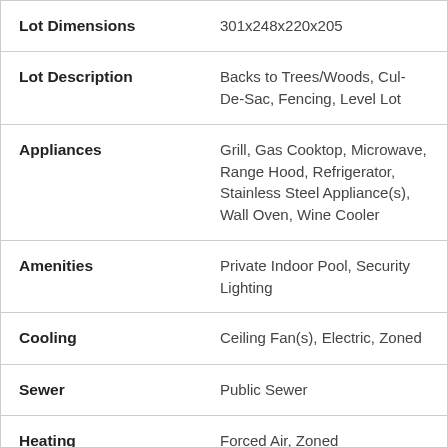| Field | Value |
| --- | --- |
| Lot Dimensions | 301x248x220x205 |
| Lot Description | Backs to Trees/Woods, Cul-De-Sac, Fencing, Level Lot |
| Appliances | Grill, Gas Cooktop, Microwave, Range Hood, Refrigerator, Stainless Steel Appliance(s), Wall Oven, Wine Cooler |
| Amenities | Private Indoor Pool, Security Lighting |
| Cooling | Ceiling Fan(s), Electric, Zoned |
| Sewer | Public Sewer |
| Heating | Forced Air, Zoned |